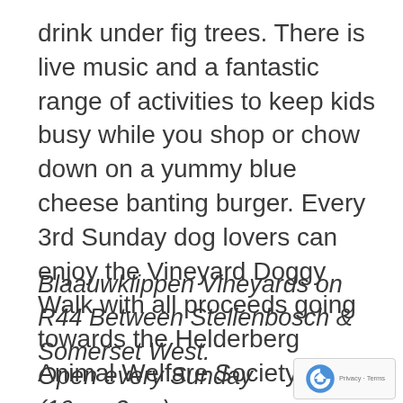drink under fig trees. There is live music and a fantastic range of activities to keep kids busy while you shop or chow down on a yummy blue cheese banting burger. Every 3rd Sunday dog lovers can enjoy the Vineyard Doggy Walk with all proceeds going towards the Helderberg Animal Welfare Society.
Blaauwklippen Vineyards on R44 Between Stellenbosch & Somerset West.
Open every Sunday (10am-3pm)